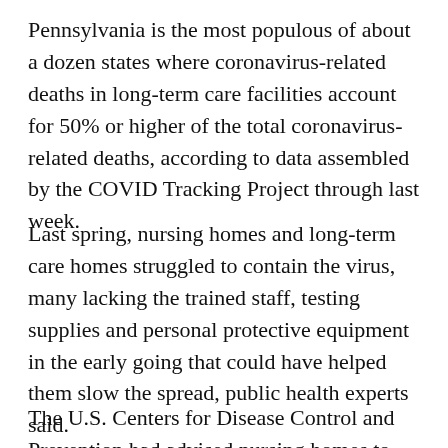Pennsylvania is the most populous of about a dozen states where coronavirus-related deaths in long-term care facilities account for 50% or higher of the total coronavirus-related deaths, according to data assembled by the COVID Tracking Project through last week.
Last spring, nursing homes and long-term care homes struggled to contain the virus, many lacking the trained staff, testing supplies and personal protective equipment in the early going that could have helped them slow the spread, public health experts said.
The U.S. Centers for Disease Control and Prevention had advised nursing homes to create a plan for